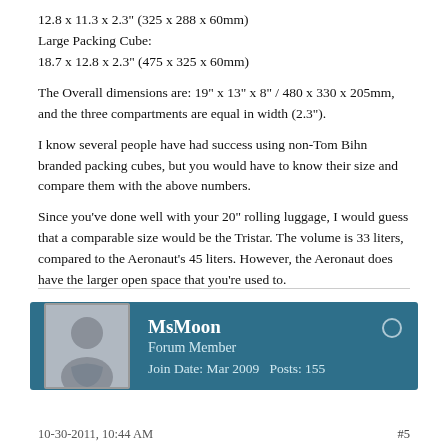12.8 x 11.3 x 2.3" (325 x 288 x 60mm)
Large Packing Cube:
18.7 x 12.8 x 2.3" (475 x 325 x 60mm)
The Overall dimensions are: 19" x 13" x 8" / 480 x 330 x 205mm, and the three compartments are equal in width (2.3").
I know several people have had success using non-Tom Bihn branded packing cubes, but you would have to know their size and compare them with the above numbers.
Since you've done well with your 20" rolling luggage, I would guess that a comparable size would be the Tristar. The volume is 33 liters, compared to the Aeronaut's 45 liters. However, the Aeronaut does have the larger open space that you're used to.
MsMoon
Forum Member
Join Date: Mar 2009   Posts: 155
10-30-2011, 10:44 AM   #5